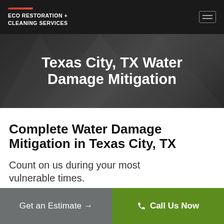ECO RESTORATION + CLEANING SERVICES
Texas City, TX Water Damage Mitigation
Complete Water Damage Mitigation in Texas City, TX
Count on us during your most vulnerable times.
Get an Estimate →
Call Us Now